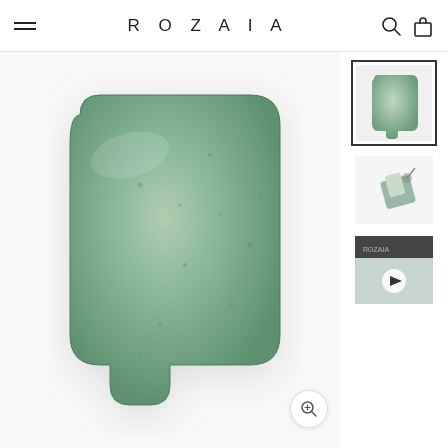ROZAIA
[Figure (photo): A green jade gua sha facial massage tool with rounded rectangular shape and a notch cut out at the lower left, photographed on a white background. The stone is smooth, polished green aventurine with natural speckles.]
[Figure (photo): Small thumbnail of the gua sha tool front view, selected state with border]
[Figure (photo): Small thumbnail showing packaging of the gua sha tool]
[Figure (photo): Small thumbnail showing a video preview with play button overlay]